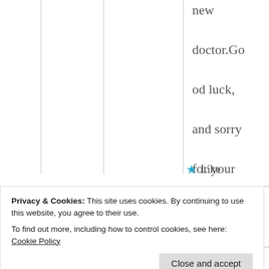new doctor.Good luck, and sorry for your pain.
★ Like
Privacy & Cookies: This site uses cookies. By continuing to use this website, you agree to their use. To find out more, including how to control cookies, see here: Cookie Policy
Close and accept
Excedrine extra